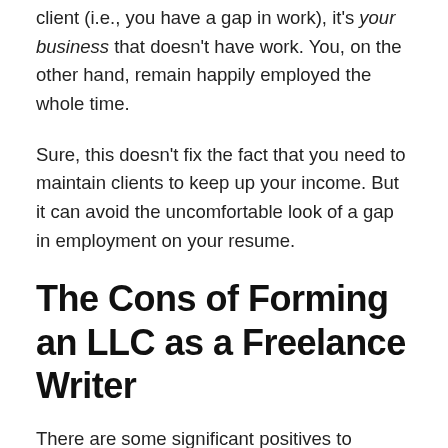client (i.e., you have a gap in work), it's your business that doesn't have work. You, on the other hand, remain happily employed the whole time.
Sure, this doesn't fix the fact that you need to maintain clients to keep up your income. But it can avoid the uncomfortable look of a gap in employment on your resume.
The Cons of Forming an LLC as a Freelance Writer
There are some significant positives to forming an LLC for your freelance writing career. However, these are at least partly offset by some legitimate cons.